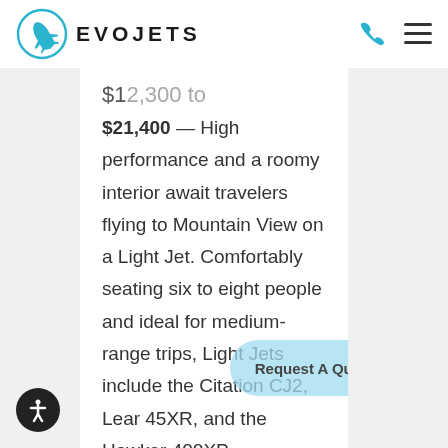EVOJETS
$21,400 — High performance and a roomy interior await travelers flying to Mountain View on a Light Jet. Comfortably seating six to eight people and ideal for medium-range trips, Light Jets include the Citation CJ2, Lear 45XR, and the Hawker 400XP.
Midsize Jet from Mountain View to Aspen: $18,800 to $24,000 — An optimal option for business